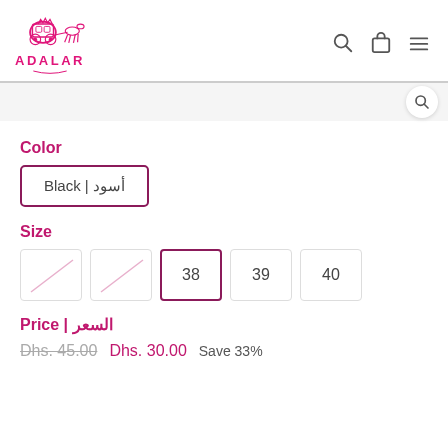[Figure (logo): Adalar brand logo with horse-drawn carriage illustration in pink, text ADALAR below in pink bold letters]
Color
Black | أسود
Size
Size options: (unavailable), (unavailable), 38 (selected), 39, 40
Price | السعر
Dhs. 45.00  Dhs. 30.00  Save 33%